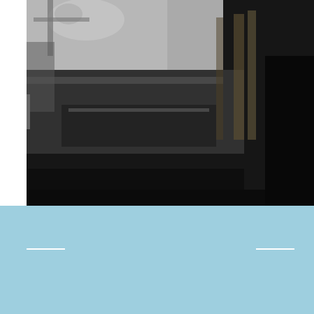[Figure (photo): Black and white photograph showing a freight train car with a hand visible at the top left, and a shadowy figure on the right side. Railroad infrastructure visible in the background.]
And the film ends with the criminal falling to their death beneath the wheels of this freight, hauled by another 0-4-0ST. Note the shadow of one of the cast or crew on the right.